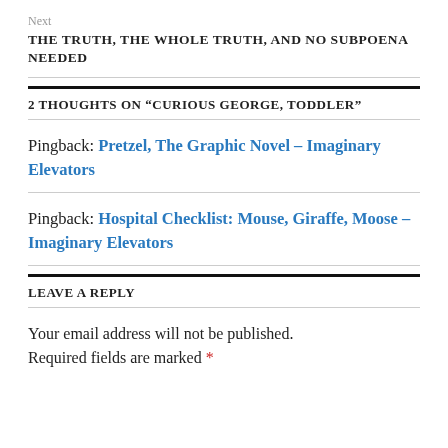Next
THE TRUTH, THE WHOLE TRUTH, AND NO SUBPOENA NEEDED
2 THOUGHTS ON “CURIOUS GEORGE, TODDLER”
Pingback: Pretzel, The Graphic Novel – Imaginary Elevators
Pingback: Hospital Checklist: Mouse, Giraffe, Moose – Imaginary Elevators
LEAVE A REPLY
Your email address will not be published. Required fields are marked *